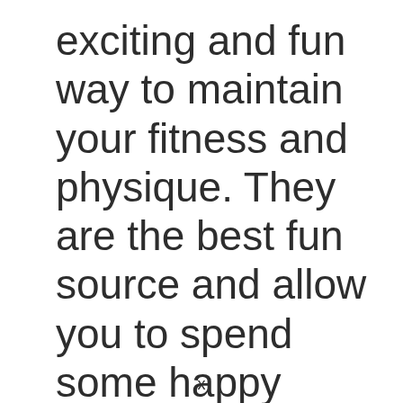exciting and fun way to maintain your fitness and physique. They are the best fun source and allow you to spend some happy moments with your family.
x